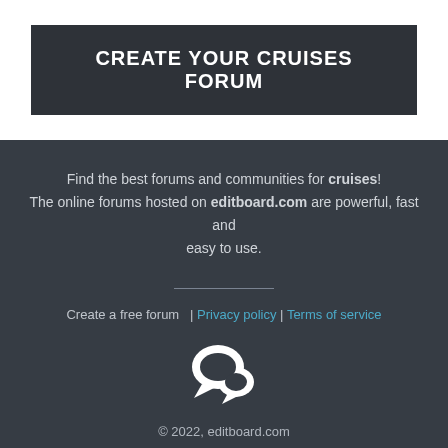CREATE YOUR CRUISES FORUM
Find the best forums and communities for cruises! The online forums hosted on editboard.com are powerful, fast and easy to use.
Create a free forum  | Privacy policy | Terms of service
[Figure (logo): Two overlapping speech bubble icons in white]
© 2022, editboard.com